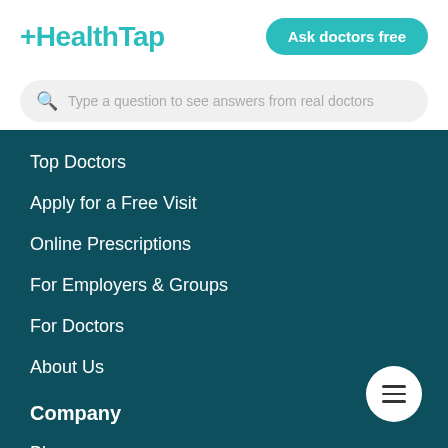+HealthTap
Ask doctors free
Type a question to see answers from real doctors
Top Doctors
Apply for a Free Visit
Online Prescriptions
For Employers & Groups
For Doctors
About Us
Company
Blog
Newsroom
Contact Us